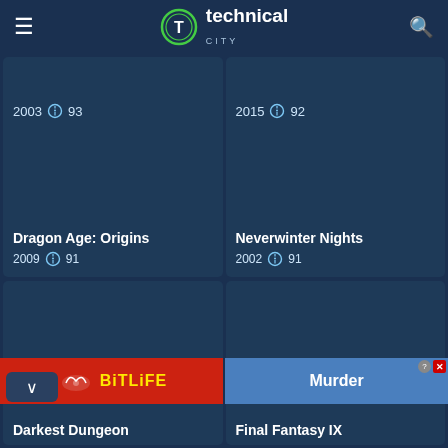technical city
2003  93
2015  92
Dragon Age: Origins
2009  91
Neverwinter Nights
2002  91
The Witcher 2: Assassins of Kings
2011  88
Divinity: Original Sin
2015  87
Darkest Dungeon
Final Fantasy IX
[Figure (screenshot): BitLife advertisement banner]
[Figure (screenshot): Murder advertisement banner]